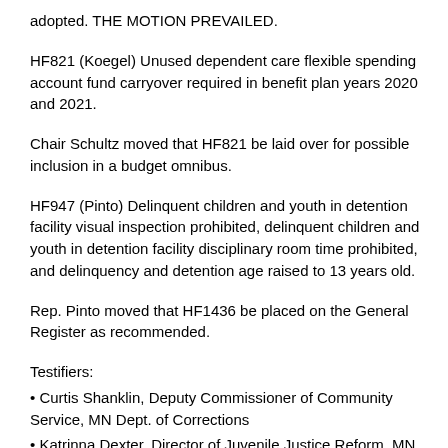adopted. THE MOTION PREVAILED.
HF821 (Koegel) Unused dependent care flexible spending account fund carryover required in benefit plan years 2020 and 2021.
Chair Schultz moved that HF821 be laid over for possible inclusion in a budget omnibus.
HF947 (Pinto) Delinquent children and youth in detention facility visual inspection prohibited, delinquent children and youth in detention facility disciplinary room time prohibited, and delinquency and detention age raised to 13 years old.
Rep. Pinto moved that HF1436 be placed on the General Register as recommended.
Testifiers:
• Curtis Shanklin, Deputy Commissioner of Community Service, MN Dept. of Corrections
• Katrinna Dexter, Director of Juvenile Justice Reform, MN Dept. of Corrections